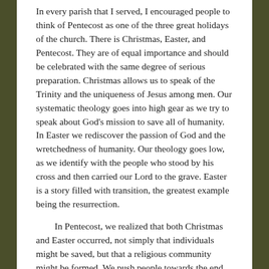In every parish that I served, I encouraged people to think of Pentecost as one of the three great holidays of the church. There is Christmas, Easter, and Pentecost. They are of equal importance and should be celebrated with the same degree of serious preparation. Christmas allows us to speak of the Trinity and the uniqueness of Jesus among men. Our systematic theology goes into high gear as we try to speak about God's mission to save all of humanity. In Easter we rediscover the passion of God and the wretchedness of humanity. Our theology goes low, as we identify with the people who stood by his cross and then carried our Lord to the grave. Easter is a story filled with transition, the greatest example being the resurrection.
In Pentecost, we realized that both Christmas and Easter occurred, not simply that individuals might be saved, but that a religious community might be formed. We push people towards the end of the second chapter of acts, when we realized that all this fire and wind resulted in the birth of the...